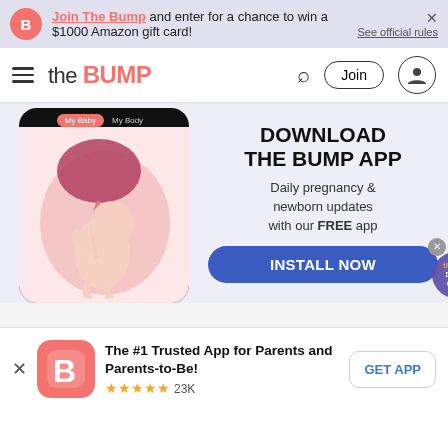Join The Bump and enter for a chance to win a $1000 Amazon gift card! See official rules
the BUMP | Join
[Figure (screenshot): The Bump app screenshot showing a fetus inside a womb illustration (My Baby / My Body tabs), next to promotional text: DOWNLOAD THE BUMP APP. Daily pregnancy & newborn updates with our FREE app. INSTALL NOW button. Deals & Offers bubble overlay.]
The #1 Trusted App for Parents and Parents-to-Be! ★★★★★ 23K
GET APP